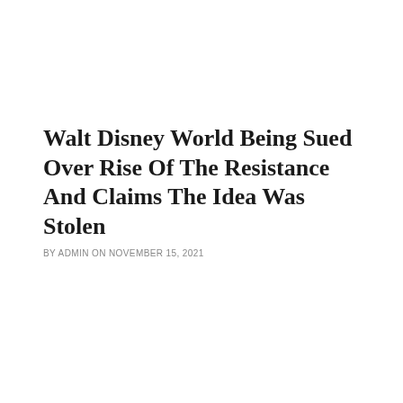Walt Disney World Being Sued Over Rise Of The Resistance And Claims The Idea Was Stolen
BY ADMIN ON NOVEMBER 15, 2021